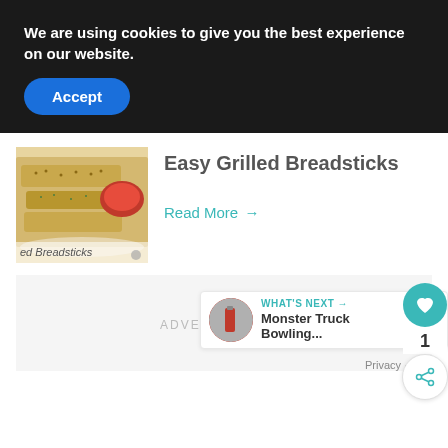We are using cookies to give you the best experience on our website.
Accept
Easy Grilled Breadsticks
[Figure (photo): Photo of grilled breadsticks with dipping sauce on a plate, with label 'ed Breadsticks']
Read More →
ADVERTISEMENT
WHAT'S NEXT → Monster Truck Bowling...
Privacy · Terms